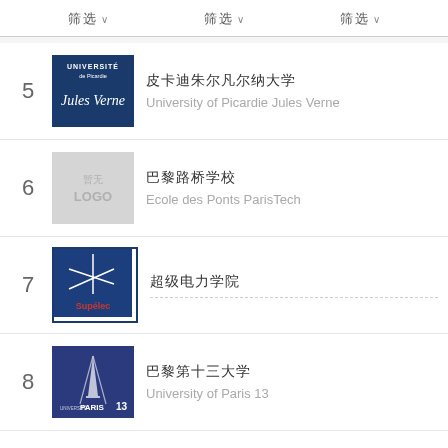筛选 ∨   筛选 ∨   筛选 ∨
5 皮卡迪朱尔凡尔纳大学 University of Picardie Jules Verne
6 巴黎路桥学校 Ecole des Ponts ParisTech
7 超级电力学院
8 巴黎第十三大学 University of Paris 13
9 （部分显示）